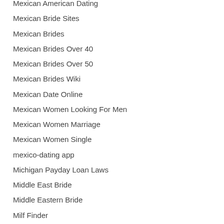Mexican American Dating
Mexican Bride Sites
Mexican Brides
Mexican Brides Over 40
Mexican Brides Over 50
Mexican Brides Wiki
Mexican Date Online
Mexican Women Looking For Men
Mexican Women Marriage
Mexican Women Single
mexico-dating app
Michigan Payday Loan Laws
Middle East Bride
Middle Eastern Bride
Milf Finder
Milf Hookup
milf hookup site services